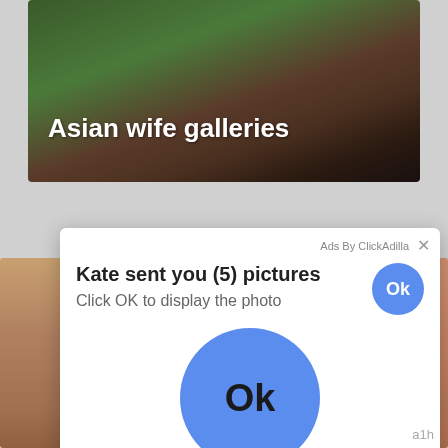[Figure (photo): Partial body photo of a person outdoors with green foliage background, wearing dark underwear. Text overlay reads 'Asian wife galleries'.]
[Figure (screenshot): Ad popup overlay from ClickAdilla saying 'Kate sent you (5) pictures' with 'Click OK to display the photo' and two blue Ok buttons.]
a1h